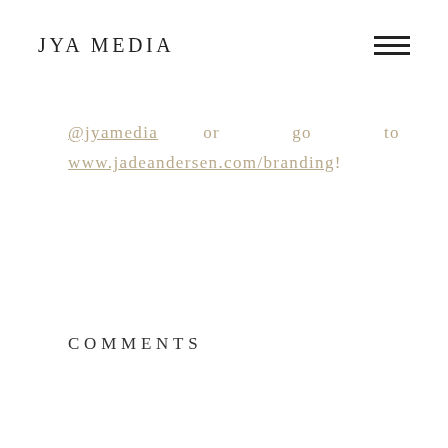JYA MEDIA
@jyamedia or go to www.jadeandersen.com/branding!
COMMENTS